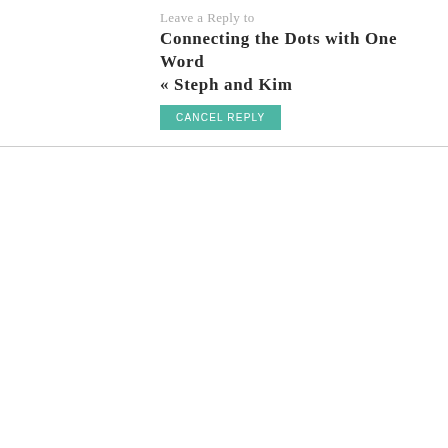Leave a Reply to
Connecting the Dots with One Word « Steph and Kim
CANCEL REPLY
[Figure (other): Empty textarea comment input field with resize handle]
NAME *
[Figure (other): Empty text input field for Name]
EMAIL *
[Figure (other): Empty text input field for Email]
WEBSITE